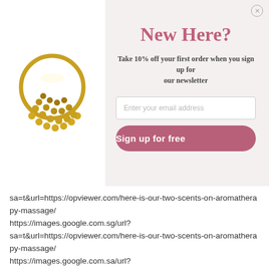[Figure (photo): Gold decorative ring/jewelry with beaded semicircle pattern on white background]
New Here?
Take 10% off your first order when you sign up for our newsletter
Enter your email address
Sign up for free
sa=t&url=https://opviewer.com/here-is-our-two-scents-on-aromatherapy-massage/ https://images.google.com.sg/url?sa=t&url=https://opviewer.com/here-is-our-two-scents-on-aromatherapy-massage/ https://images.google.com.sa/url?sa=t&url=https://opviewer.com/here-is-our-two-scents-on-aromatherapy-massage/ https://images.google.com.qa/url?sa=t&url=https://opviewer.com/here-is-our-two-scents-on-